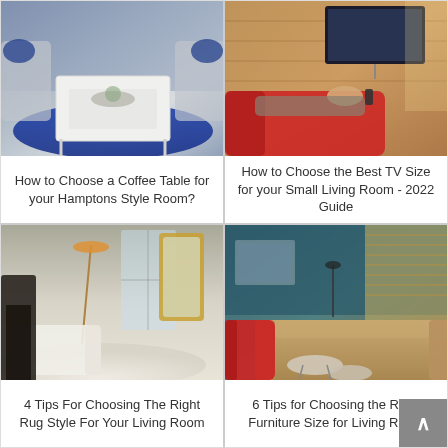[Figure (photo): Living room with white coffee table on blue patterned rug, grey sofas with decorative pillows]
How to Choose a Coffee Table for your Hamptons Style Room?
[Figure (photo): Person reclining on red chair holding TV remote in a living room with TV mounted on wooden wall]
How to Choose the Best TV Size for your Small Living Room - 2022 Guide
[Figure (photo): Modern living room with large shaggy white rug, gold mirror, and floor lamp]
4 Tips For Choosing The Right Rug Style For Your Living Room
[Figure (photo): Living room with teal walls, red accent chair, beige sofa, and round coffee tables]
6 Tips for Choosing the Right Furniture Size for Living Room